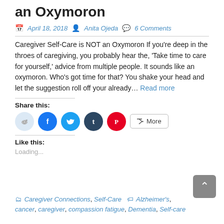an Oxymoron
April 18, 2018   Anita Ojeda   6 Comments
Caregiver Self-Care is NOT an Oxymoron If you're deep in the throes of caregiving, you probably hear the, 'Take time to care for yourself,' advice from multiple people. It sounds like an oxymoron. Who's got time for that? You shake your head and let the suggestion roll off your already… Read more
Share this:
[Figure (infographic): Social share buttons: Reddit (light blue circle), Facebook (blue circle), Twitter (cyan circle), Tumblr (dark navy circle), Pinterest (red circle), and a More button with share icon]
Like this:
Loading...
Caregiver Connections, Self-Care   Alzheimer's, cancer, caregiver, compassion fatigue, Dementia, Self-care